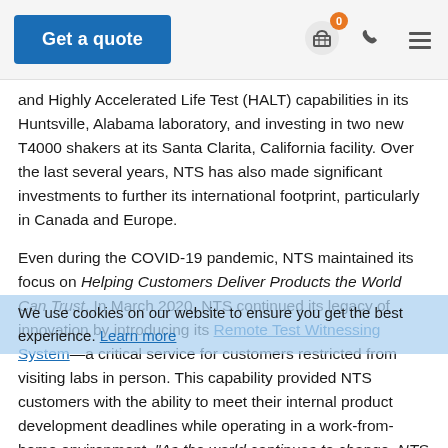Get a quote
and Highly Accelerated Life Test (HALT) capabilities in its Huntsville, Alabama laboratory, and investing in two new T4000 shakers at its Santa Clarita, California facility. Over the last several years, NTS has also made significant investments to further its international footprint, particularly in Canada and Europe.
Even during the COVID-19 pandemic, NTS maintained its focus on Helping Customers Deliver Products the World Can Trust. In March 2020, NTS continued its legacy of innovation by introducing its Remote Test Witnessing System—a critical service for customers restricted from visiting labs in person. This capability provided NTS customers with the ability to meet their internal product development deadlines while operating in a work-from-home environment. "As the world continues to change, NTS will always remain at the forefront of testing innovation and customer care," said Milchovich.
We use cookies on our website to ensure you get the best experience. Learn more